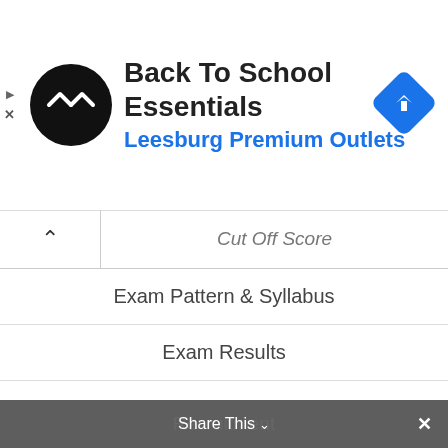[Figure (screenshot): Ad banner for Back To School Essentials at Leesburg Premium Outlets, with circular black logo with double arrow, ad title, subtitle in blue, and blue diamond navigation icon on the right]
Cut Off Score
Exam Pattern & Syllabus
Exam Results
Hall Ticket
Merit List
Notification
Previous paper
Recruitment
Share This